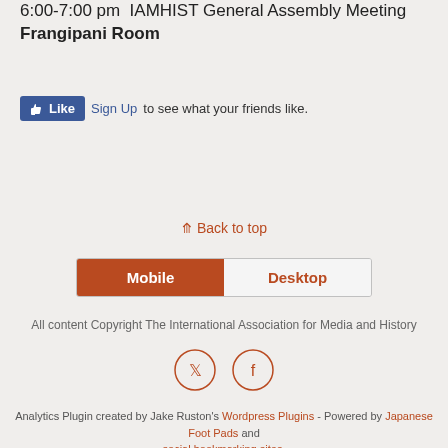6:00-7:00 pm  IAMHIST General Assembly Meeting
Frangipani Room
[Figure (other): Facebook Like button widget with 'Sign Up to see what your friends like.']
Back to top
[Figure (other): Mobile/Desktop toggle button bar with Mobile selected (brown background) and Desktop option]
All content Copyright The International Association for Media and History
[Figure (other): Twitter and Facebook circular social media icons]
Analytics Plugin created by Jake Ruston's Wordpress Plugins - Powered by Japanese Foot Pads and social bookmarking sites.